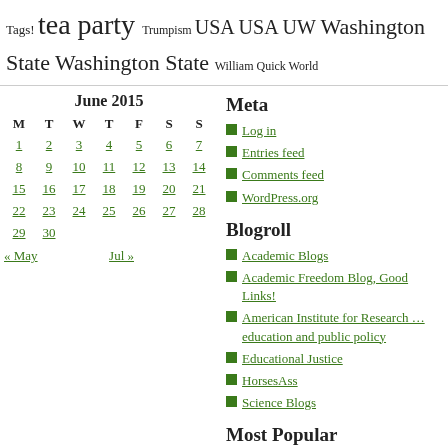Tags! tea party Trumpism USA USA UW Washington State Washington State William Quick World
| M | T | W | T | F | S | S |
| --- | --- | --- | --- | --- | --- | --- |
| 1 | 2 | 3 | 4 | 5 | 6 | 7 |
| 8 | 9 | 10 | 11 | 12 | 13 | 14 |
| 15 | 16 | 17 | 18 | 19 | 20 | 21 |
| 22 | 23 | 24 | 25 | 26 | 27 | 28 |
| 29 | 30 |  |  |  |  |  |
« May   Jul »
Meta
Log in
Entries feed
Comments feed
WordPress.org
Blogroll
Academic Blogs
Academic Freedom Blog, Good Links!
American Institute for Research … education and public policy
Educational Justice
HorsesAss
Science Blogs
Most Popular
A Prof Responds to a Teacher
1981 High School Football Team Photo Leaves Little Doubt that Michelle Obama Was Born Michael Robinson